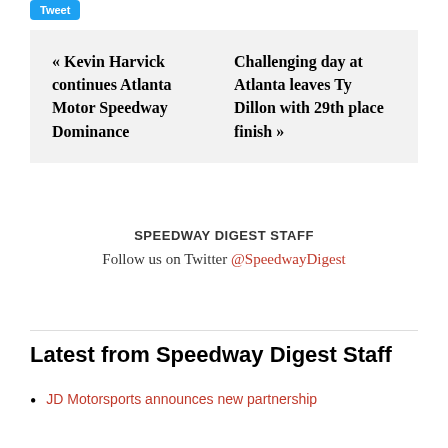[Figure (other): Twitter Tweet button (blue rounded rectangle with 'Tweet' label)]
« Kevin Harvick continues Atlanta Motor Speedway Dominance
Challenging day at Atlanta leaves Ty Dillon with 29th place finish »
SPEEDWAY DIGEST STAFF
Follow us on Twitter @SpeedwayDigest
Latest from Speedway Digest Staff
JD Motorsports announces new partnership